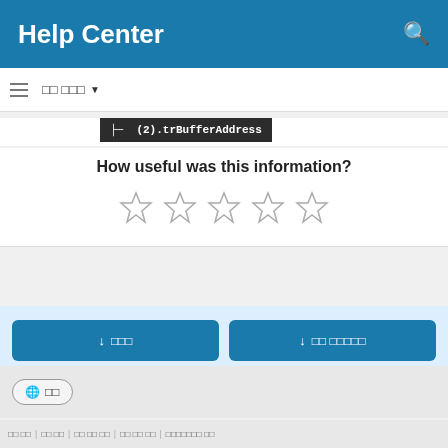Help Center
(2).trBufferAddress
How useful was this information?
[Figure (other): Five empty star rating icons for user feedback]
[Figure (other): Two blue download buttons with Korean text labels]
🌐 일어
개인 정보 | 법적 고지 | 사용 약관 및 판매 | 사이트 맵 및 쿠키 | Accessibility 정책